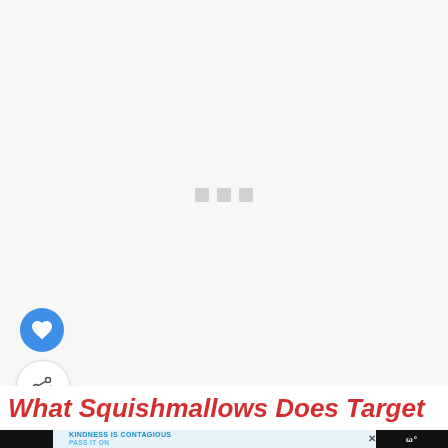[Figure (other): Loading placeholder area with three small grey squares in center, representing a loading spinner or image placeholder on a light grey background]
[Figure (other): Blue circular heart/favorite FAB button]
[Figure (other): White circular share FAB button with share icon and plus]
What Squishmallows Does Target
KINDNESS IS CONTAGIOUS PASS IT ON